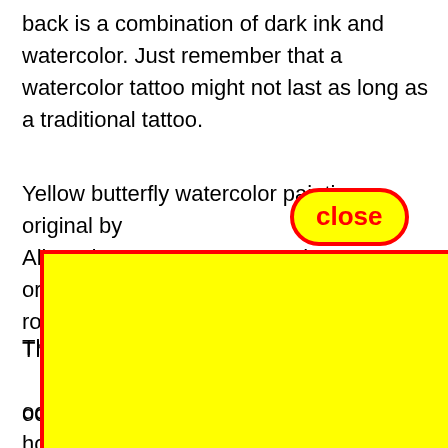back is a combination of dark ink and watercolor. Just remember that a watercolor tattoo might not last as long as a traditional tattoo.
Yellow butterfly watercolor painting original by AlisaAdamsoneArt … alaxy tattoos or universe tattoos. Purple is the color of royalty.
[Figure (other): A red 'close' button overlay (pill-shaped, yellow background with red border and red bold text 'close') overlapping the text.]
[Figure (other): A large yellow rectangle with a thick red border overlaying the lower portion of the page, obscuring underlying text.]
This … oos hous … expe … 017 – Ex … Butt …
A si … e very … w resil …